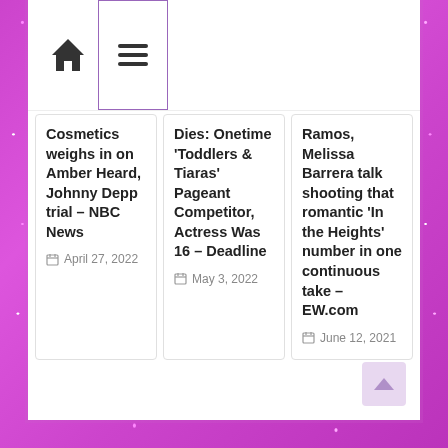Navigation bar with home icon and menu icon
Cosmetics weighs in on Amber Heard, Johnny Depp trial – NBC News
April 27, 2022
Dies: Onetime 'Toddlers & Tiaras' Pageant Competitor, Actress Was 16 – Deadline
May 3, 2022
Ramos, Melissa Barrera talk shooting that romantic 'In the Heights' number in one continuous take – EW.com
June 12, 2021